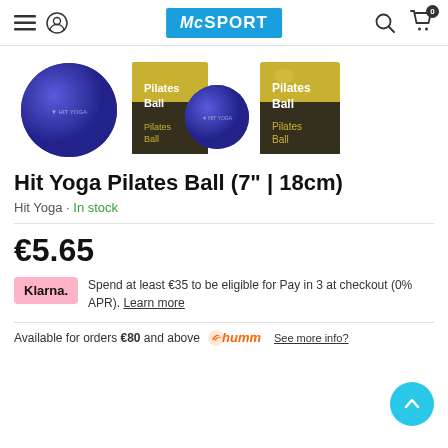McSPORT
[Figure (photo): Three product images: a blue pilates ball, a blue ball in front of a yellow packaging box labelled 'Pilates Ball', and a yellow packaging box labelled 'Pilates Ball']
Hit Yoga Pilates Ball (7" | 18cm)
Hit Yoga · In stock
€5.65
Klarna. Spend at least €35 to be eligible for Pay in 3 at checkout (0% APR). Learn more
Available for orders €80 and above  humm  See more info?